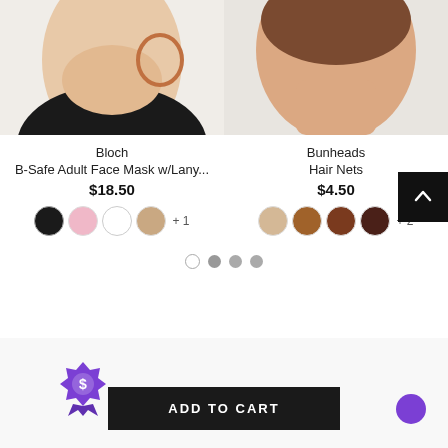[Figure (photo): Two product photos side by side: left shows a person wearing a black face mask from the side/chin view; right shows the back of a person's neck/head with short brown hair on grey background.]
Bloch
B-Safe Adult Face Mask w/Lany...
$18.50
Bunheads
Hair Nets
$4.50
+ 1
+ 2
ADD TO CART